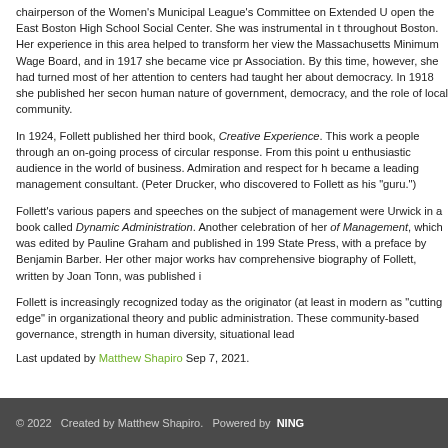chairperson of the Women's Municipal League's Committee on Extended U… open the East Boston High School Social Center. She was instrumental in t… throughout Boston. Her experience in this area helped to transform her view… the Massachusetts Minimum Wage Board, and in 1917 she became vice pr… Association. By this time, however, she had turned most of her attention to… centers had taught her about democracy. In 1918 she published her secon… human nature of government, democracy, and the role of local community.
In 1924, Follett published her third book, Creative Experience. This work a… people through an on-going process of circular response. From this point u… enthusiastic audience in the world of business. Admiration and respect for h… became a leading management consultant. (Peter Drucker, who discovered… to Follett as his "guru.")
Follett's various papers and speeches on the subject of management were… Urwick in a book called Dynamic Administration. Another celebration of he… of Management, which was edited by Pauline Graham and published in 199… State Press, with a preface by Benjamin Barber. Her other major works hav… comprehensive biography of Follett, written by Joan Tonn, was published i…
Follett is increasingly recognized today as the originator (at least in moder… as "cutting edge" in organizational theory and public administration. These… community-based governance, strength in human diversity, situational lead…
Last updated by Matthew Shapiro Sep 7, 2021.
© 2022   Created by Matthew Shapiro.   Powered by NING